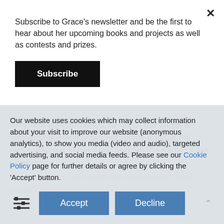Subscribe to Grace's newsletter and be the first to hear about her upcoming books and projects as well as contests and prizes.
Subscribe
Only one task remained: to reach the curtains undetected. Helena ran her palms against the loose material of her tunic and felt the rustle of her petticoats.
Our website uses cookies which may collect information about your visit to improve our website (anonymous analytics), to show you media (video and audio), targeted advertising, and social media feeds. Please see our Cookie Policy page for further details or agree by clicking the 'Accept' button.
Accept
Decline